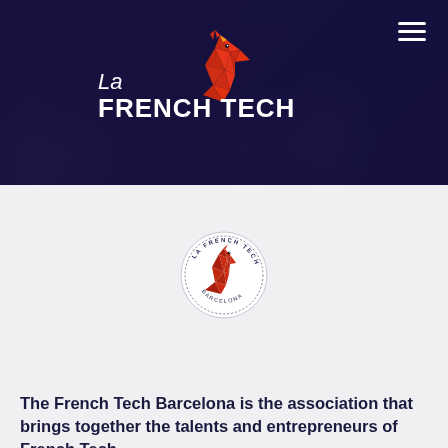[Figure (photo): Header banner with dark purple-tinted office/coworking space photo background. La French Tech logo with red origami rooster and white text 'La FRENCH TECH'. Hamburger menu icon in top-right corner.]
[Figure (logo): La French Tech Barcelona circular stamp logo with red rooster in center, text around border reading 'LA FRENCH TECH BARCELONA']
The French Tech Barcelona is the association that brings together the talents and entrepreneurs of French Tech